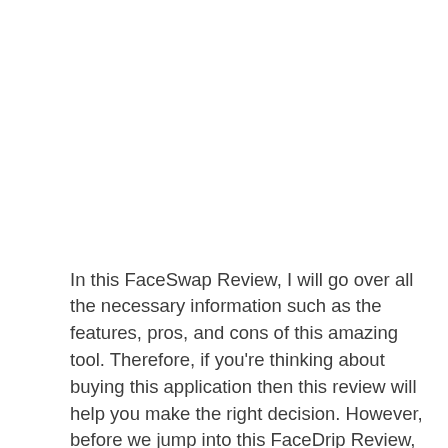In this FaceSwap Review, I will go over all the necessary information such as the features, pros, and cons of this amazing tool. Therefore, if you're thinking about buying this application then this review will help you make the right decision. However, before we jump into this FaceDrip Review, let's talk about what it actually… Read more